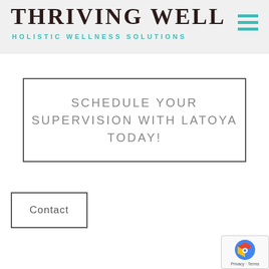THRIVING WELL HOLISTIC WELLNESS SOLUTIONS
SCHEDULE YOUR SUPERVISION WITH LATOYA TODAY!
Contact
[Figure (logo): Thriving Well Holistic Wellness Solutions logo at bottom of page, partially obscured by reCAPTCHA badge]
[Figure (other): Google reCAPTCHA badge with Privacy and Terms links]